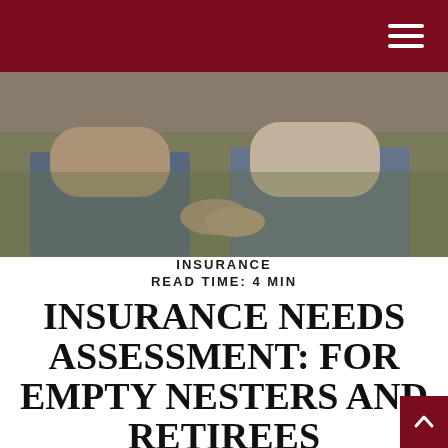[Figure (photo): Two elderly people sitting on a couch together, one in a tan sweater and one in a white shirt, with arms around each other]
INSURANCE
READ TIME: 4 MIN
INSURANCE NEEDS ASSESSMENT: FOR EMPTY NESTERS AND RETIREES
With the children now out of the house, financial priorities become more focused on preparing for retirement. At this stage, you may very likely be at the height of your earning